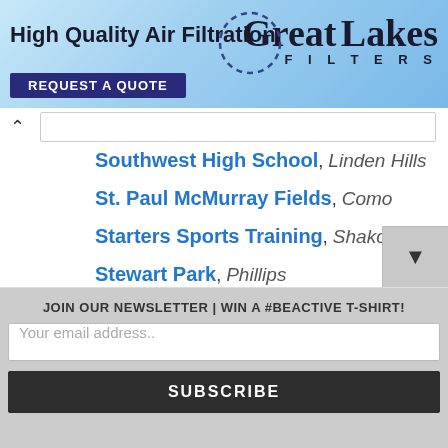[Figure (screenshot): Advertisement banner for Great Lakes Filters - High Quality Air Filtration with REQUEST A QUOTE button]
Southwest High School, Linden Hills
St. Paul McMurray Fields, Como
Starters Sports Training, Shakopee
Stewart Park, Phillips
Stewart Recreation Center, Phillips
Sylvan Park, South of Maryland
JOIN OUR NEWSLETTER | WIN A #BEACTIVE T-SHIRT!
Your email address..
SUBSCRIBE